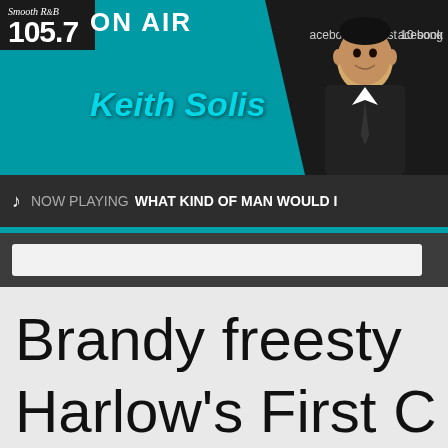Smooth R&B 105.7 ON AIR Keith Solis | acebook | last 10 song
NOW PLAYING  WHAT KIND OF MAN WOULD I
Brandy freesty... Harlow's First C...